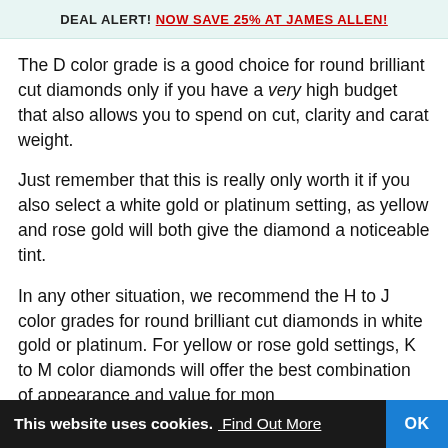DEAL ALERT! NOW SAVE 25% AT JAMES ALLEN!
The D color grade is a good choice for round brilliant cut diamonds only if you have a very high budget that also allows you to spend on cut, clarity and carat weight.
Just remember that this is really only worth it if you also select a white gold or platinum setting, as yellow and rose gold will both give the diamond a noticeable tint.
In any other situation, we recommend the H to J color grades for round brilliant cut diamonds in white gold or platinum. For yellow or rose gold settings, K to M color diamonds will offer the best combination of appearance and value for mon…
This website uses cookies. Find Out More   OK